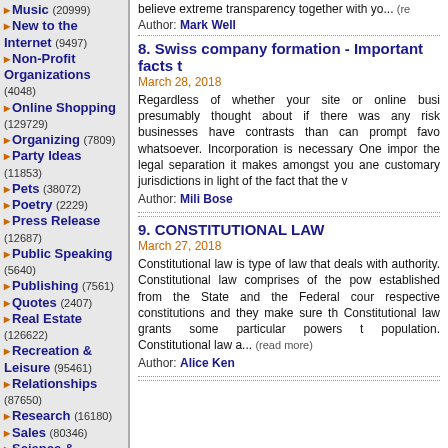Music (20999)
New to the Internet (9497)
Non-Profit Organizations (4048)
Online Shopping (129729)
Organizing (7809)
Party Ideas (11853)
Pets (38072)
Poetry (2229)
Press Release (12687)
Public Speaking (5640)
Publishing (7561)
Quotes (2407)
Real Estate (126622)
Recreation & Leisure (95461)
Relationships (87650)
Research (16180)
Sales (80346)
Science & Technology (110281)
believe extreme transparency together with yo... (read more)
Author: Mark Well
8. Swiss company formation - Important facts t
March 28, 2018
Regardless of whether your site or online busi presumably thought about if there was any risk businesses have contrasts than can prompt favo whatsoever. Incorporation is necessary One impor the legal separation it makes amongst you ane customary jurisdictions in light of the fact that the v
Author: Mili Bose
9. CONSTITUTIONAL LAW
March 27, 2018
Constitutional law is type of law that deals with authority. Constitutional law comprises of the pow established from the State and the Federal cour respective constitutions and they make sure th Constitutional law grants some particular powers t population. Constitutional law a... (read more)
Author: Alice Ken